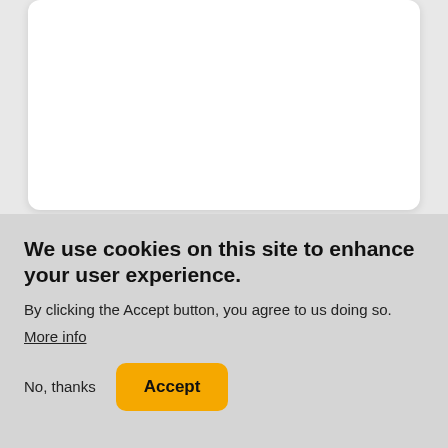[Figure (screenshot): Partial white card at top of page, cut off]
LIVE IN PERSON
ON DEMAND
Clinical Informatics Board
We use cookies on this site to enhance your user experience.
By clicking the Accept button, you agree to us doing so.
More info
No, thanks
Accept